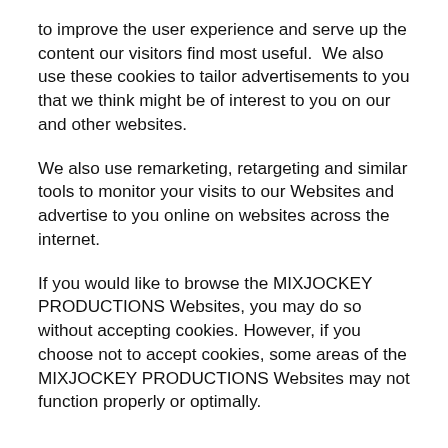to improve the user experience and serve up the content our visitors find most useful.  We also use these cookies to tailor advertisements to you that we think might be of interest to you on our and other websites.
We also use remarketing, retargeting and similar tools to monitor your visits to our Websites and advertise to you online on websites across the internet.
If you would like to browse the MIXJOCKEY PRODUCTIONS Websites, you may do so without accepting cookies. However, if you choose not to accept cookies, some areas of the MIXJOCKEY PRODUCTIONS Websites may not function properly or optimally.